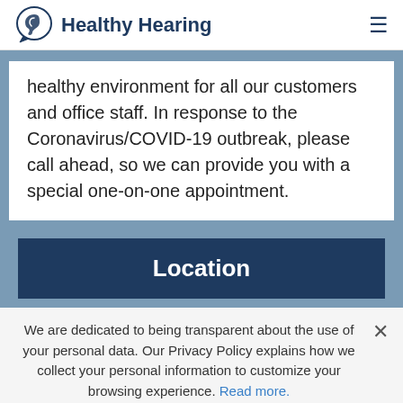Healthy Hearing
healthy environment for all our customers and office staff. In response to the Coronavirus/COVID-19 outbreak, please call ahead, so we can provide you with a special one-on-one appointment.
Location
We are dedicated to being transparent about the use of your personal data. Our Privacy Policy explains how we collect your personal information to customize your browsing experience. Read more.
(855) 852-9626